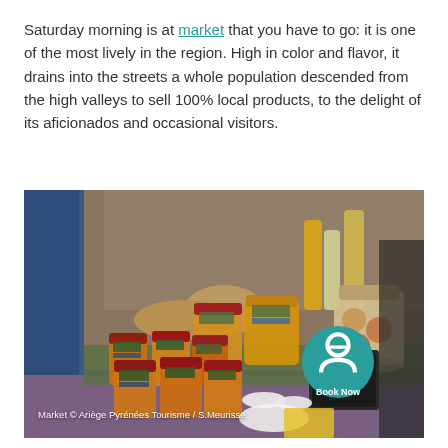Saturday morning is at market that you have to go: it is one of the most lively in the region. High in color and flavor, it drains into the streets a whole population descended from the high valleys to sell 100% local products, to the delight of its aficionados and occasional visitors.
[Figure (photo): A colorful outdoor farmers market stall with rows of jam jars, honey, bread and local products on display. Vendors and customers visible in background. A chalkboard price sign reads 'Foie Gras'. A teal 'Book Now' button overlays the bottom right of the image.]
Market © Ariège Pyrénées Tourisme / S.Meurisse